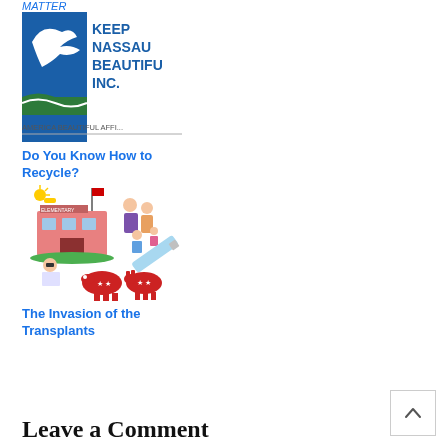MATTER
[Figure (logo): Keep Nassau Beautiful Inc. logo with America Beautiful affiliate text]
Do You Know How to Recycle?
[Figure (illustration): Colorful illustration showing school building, families, children, a syringe, elephant and donkey (political symbols), representing The Invasion of the Transplants]
The Invasion of the Transplants
Leave a Comment